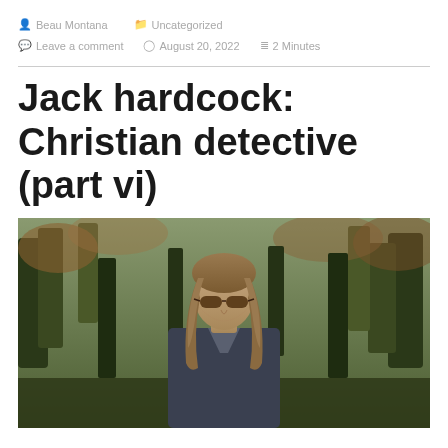Beau Montana   Uncategorized   Leave a comment   August 20, 2022   2 Minutes
Jack hardcock: Christian detective (part vi)
[Figure (photo): A man with long blonde-brown hair and sunglasses standing outdoors in front of green trees and autumn foliage, facing the camera with a serious expression, wearing a jacket.]